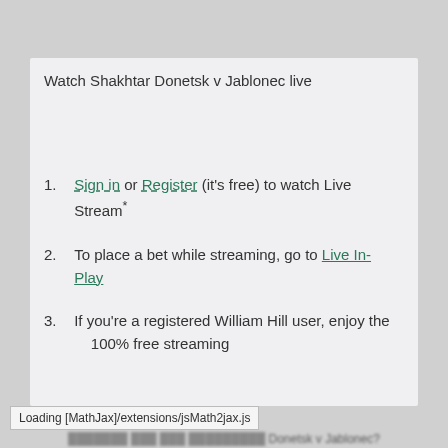Watch Shakhtar Donetsk v Jablonec live
1. Sign in or Register (it's free) to watch Live Stream*
2. To place a bet while streaming, go to Live In-Play
3. If you're a registered William Hill user, enjoy the 100% free streaming
Loading [MathJax]/extensions/jsMath2jax.js